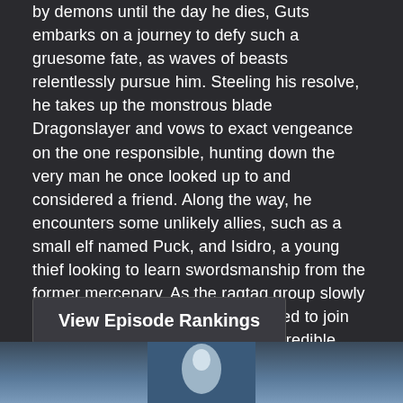by demons until the day he dies, Guts embarks on a journey to defy such a gruesome fate, as waves of beasts relentlessly pursue him. Steeling his resolve, he takes up the monstrous blade Dragonslayer and vows to exact vengeance on the one responsible, hunting down the very man he once looked up to and considered a friend. Along the way, he encounters some unlikely allies, such as a small elf named Puck, and Isidro, a young thief looking to learn swordsmanship from the former mercenary. As the ragtag group slowly comes together after having decided to join Guts in his quest, they will face incredible danger unlike anything they have ever experienced before.
View Episode Rankings
[Figure (photo): Bottom portion of a photo showing a bluish-tinted scene, partially visible at the bottom of the page.]